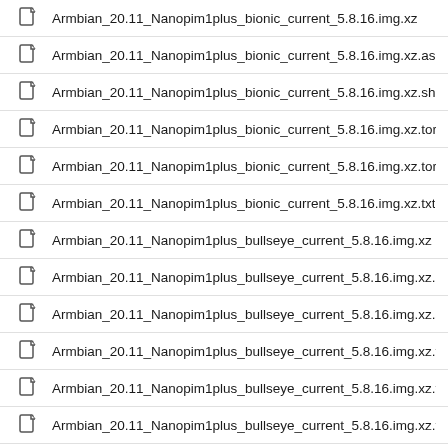Armbian_20.11_Nanopim1plus_bionic_current_5.8.16.img.xz
Armbian_20.11_Nanopim1plus_bionic_current_5.8.16.img.xz.asc
Armbian_20.11_Nanopim1plus_bionic_current_5.8.16.img.xz.sha
Armbian_20.11_Nanopim1plus_bionic_current_5.8.16.img.xz.torren
Armbian_20.11_Nanopim1plus_bionic_current_5.8.16.img.xz.torren
Armbian_20.11_Nanopim1plus_bionic_current_5.8.16.img.xz.txt
Armbian_20.11_Nanopim1plus_bullseye_current_5.8.16.img.xz
Armbian_20.11_Nanopim1plus_bullseye_current_5.8.16.img.xz.asc
Armbian_20.11_Nanopim1plus_bullseye_current_5.8.16.img.xz.sha
Armbian_20.11_Nanopim1plus_bullseye_current_5.8.16.img.xz.torr
Armbian_20.11_Nanopim1plus_bullseye_current_5.8.16.img.xz.torr
Armbian_20.11_Nanopim1plus_bullseye_current_5.8.16.img.xz.txt
Armbian_20.11_Nanopim1plus_buster_current_5.8.16.img.xz